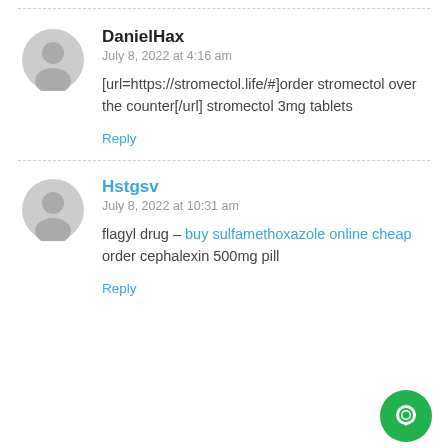[Figure (illustration): Avatar icon (gray silhouette) for DanielHax comment]
DanielHax
July 8, 2022 at 4:16 am
[url=https://stromectol.life/#]order stromectol over the counter[/url] stromectol 3mg tablets
Reply
[Figure (illustration): Avatar icon (gray silhouette) for Hstgsv comment]
Hstgsv
July 8, 2022 at 10:31 am
flagyl drug – buy sulfamethoxazole online cheap order cephalexin 500mg pill
Reply
[Figure (illustration): Green chat button with speech bubble icon in bottom-right corner]